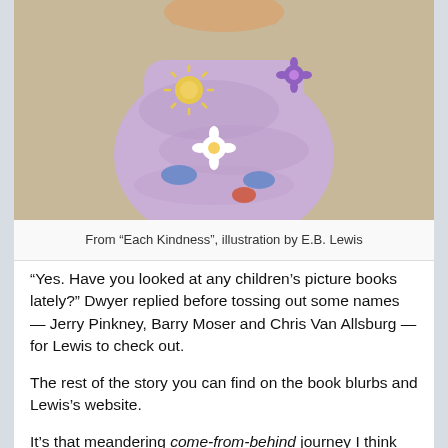[Figure (photo): Photo of a child wearing a purple/lavender decorated garment with painted flowers and sun motifs, held by an adult hand visible at top]
From “Each Kindness”, illustration by E.B. Lewis
“Yes. Have you looked at any children’s picture books lately?” Dwyer replied before tossing out some names — Jerry Pinkney, Barry Moser and Chris Van Allsburg — for Lewis to check out.
The rest of the story you can find on the book blurbs and Lewis’s website.
It’s that meandering come-from-behind journey I think that informs his striking empathy for